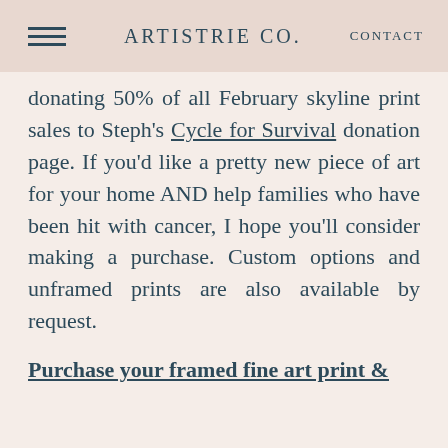ARTISTRIE CO.    CONTACT
donating 50% of all February skyline print sales to Steph's Cycle for Survival donation page. If you'd like a pretty new piece of art for your home AND help families who have been hit with cancer, I hope you'll consider making a purchase. Custom options and unframed prints are also available by request.
Purchase your framed fine art print &